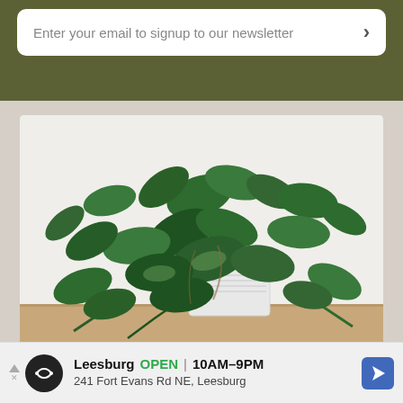Enter your email to signup to our newsletter >
[Figure (photo): A lush green houseplant with trailing vines and variegated leaves, displayed in a white ribbed pot on a wooden surface against a white background. The plant appears to be a Philodendron or similar tropical trailing plant.]
Leesburg OPEN 10AM–9PM 241 Fort Evans Rd NE, Leesburg